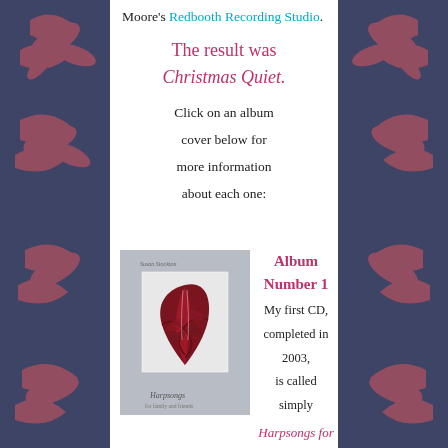Moore's Redbooth Recording Studio.
The result was Christmas Quiet.
Click on an album cover below for more information about each one:
[Figure (photo): Album cover for Harpsongs for family and friends - grey background with red/dark feather illustration in a white-bordered photo area, artist name Susan Stockton at top, album title Harpsongs at bottom]
Album Number 1
My first CD, completed in 2003, is called simply
Harpsongs for family and friends.